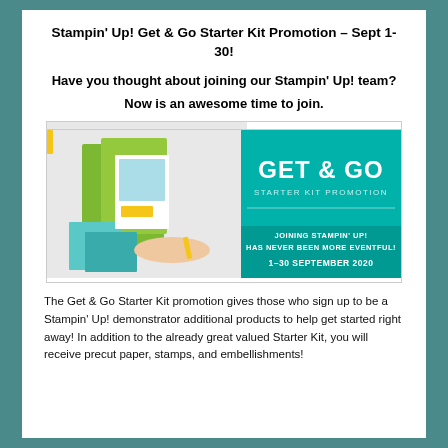Stampin' Up! Get & Go Starter Kit Promotion – Sept 1-30!
Have you thought about joining our Stampin' Up! team?
Now is an awesome time to join.
[Figure (photo): Get & Go Starter Kit Promotion banner showing craft supplies on the left and teal promotional text on the right reading GET & GO STARTER KIT PROMOTION, JOINING STAMPIN' UP! HAS NEVER BEEN MORE EVENTFUL!, 1–30 SEPTEMBER 2020]
The Get & Go Starter Kit promotion gives those who sign up to be a Stampin' Up! demonstrator additional products to help get started right away!  In addition to the already great valued Starter Kit, you will receive precut paper, stamps, and embellishments!